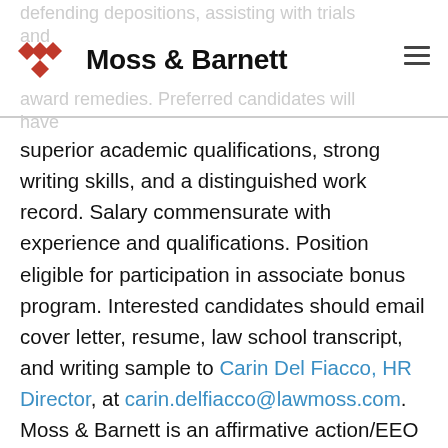Moss & Barnett
superior academic qualifications, strong writing skills, and a distinguished work record. Salary commensurate with experience and qualifications. Position eligible for participation in associate bonus program. Interested candidates should email cover letter, resume, law school transcript, and writing sample to Carin Del Fiacco, HR Director, at carin.delfiacco@lawmoss.com. Moss & Barnett is an affirmative action/EEO employer. No agencies please.